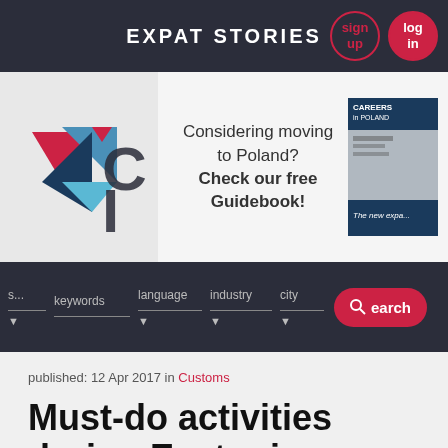EXPAT STORIES
[Figure (logo): Careers in Poland logo with red, blue and dark geometric shapes, partially visible text 'C I']
[Figure (infographic): Advertisement: 'Considering moving to Poland? Check our free Guidebook!' with book cover image showing 'Careers in Poland' magazine]
[Figure (screenshot): Search bar with fields: s..., keywords, language, industry, city dropdowns and a red Search button]
published: 12 Apr 2017 in Customs
Must-do activities during Easter in Poland